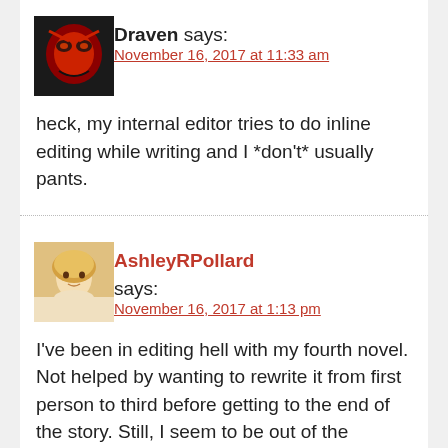[Figure (photo): Avatar image of user Draven, showing a red and black masked character]
Draven says:
November 16, 2017 at 11:33 am
heck, my internal editor tries to do inline editing while writing and I *don't* usually pants.
[Figure (photo): Avatar image of user AshleyRPollard, showing a blonde woman]
AshleyRPollard says:
November 16, 2017 at 1:13 pm
I've been in editing hell with my fourth novel. Not helped by wanting to rewrite it from first person to third before getting to the end of the story. Still, I seem to be out of the woods, with an end in sight. Oops, what do you mean a